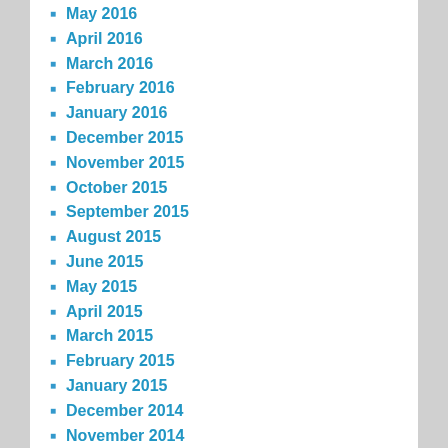May 2016
April 2016
March 2016
February 2016
January 2016
December 2015
November 2015
October 2015
September 2015
August 2015
June 2015
May 2015
April 2015
March 2015
February 2015
January 2015
December 2014
November 2014
October 2014
September 2014
August 2014
July 2014